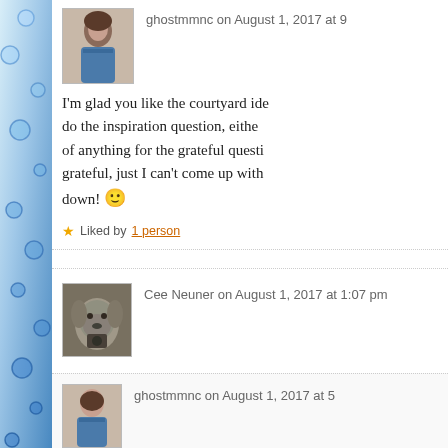[Figure (illustration): Blue decorative sidebar with bubble/circle pattern]
ghostmmnc on August 1, 2017 at 9
I'm glad you like the courtyard ide... do the inspiration question, either... of anything for the grateful questi... grateful, just I can't come up with... down! 🙂
Liked by 1 person
Cee Neuner on August 1, 2017 at 1:07 pm
Thanks for sharing this week. ;D
Like
ghostmmnc on August 1, 2017 at 5